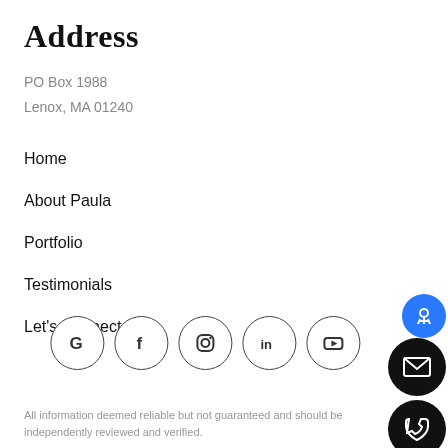Address
PO Box 1988
Lenox, MA 01240
Home
About Paula
Portfolio
Testimonials
Let's Connect
[Figure (infographic): Social media icons in circles: Google, Facebook, Instagram, LinkedIn, YouTube]
All information deemed reliable but not guaranteed and should be independently reviewed and verified.